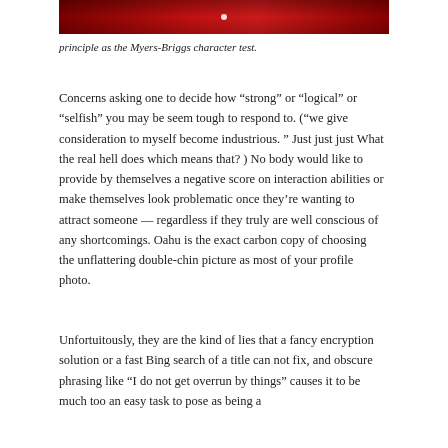[Figure (photo): Dark red/crimson gradient image, partial view at top of page with a small white dot in the center]
principle as the Myers-Briggs character test.
Concerns asking one to decide how “strong” or “logical” or “selfish” you may be seem tough to respond to. (“we give consideration to myself become industrious. ” Just just just What the real hell does which means that? ) No body would like to provide by themselves a negative score on interaction abilities or make themselves look problematic once they’re wanting to attract someone — regardless if they truly are well conscious of any shortcomings. Oahu is the exact carbon copy of choosing the unflattering double-chin picture as most of your profile photo.
Unfortuitously, they are the kind of lies that a fancy encryption solution or a fast Bing search of a title can not fix, and obscure phrasing like “I do not get overrun by things” causes it to be much too an easy task to pose as being a